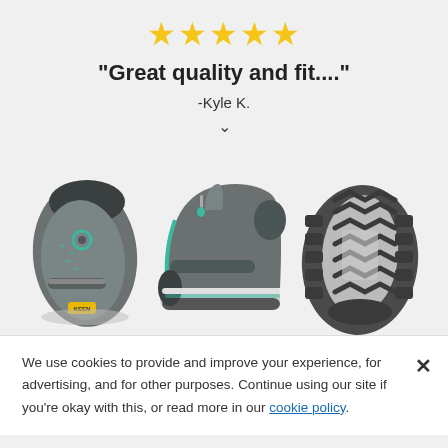[Figure (other): Five gold star rating icons]
"Great quality and fit...."
-Kyle K.
v (chevron down arrow)
[Figure (photo): Three views of a gray and teal children's hiking boot: top view, side view, and sole view]
We use cookies to provide and improve your experience, for advertising, and for other purposes. Continue using our site if you're okay with this, or read more in our cookie policy.